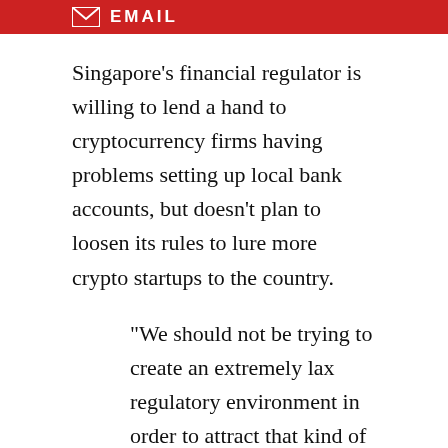EMAIL
Singapore's financial regulator is willing to lend a hand to cryptocurrency firms having problems setting up local bank accounts, but doesn't plan to loosen its rules to lure more crypto startups to the country.
“We should not be trying to create an extremely lax regulatory environment in order to attract that kind of business,” Monetary Authority of Singapore Managing Director Ravi Menon said Tuesday when discussing the crypto industry in an interview with Bloomberg